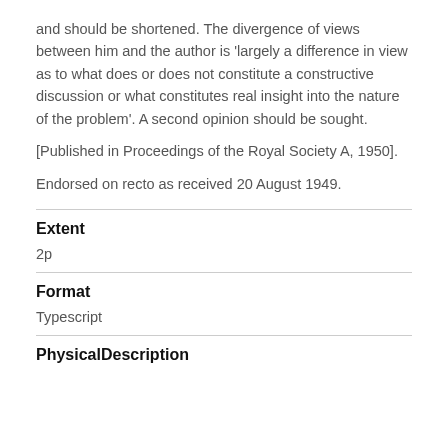and should be shortened. The divergence of views between him and the author is 'largely a difference in view as to what does or does not constitute a constructive discussion or what constitutes real insight into the nature of the problem'. A second opinion should be sought.
[Published in Proceedings of the Royal Society A, 1950].
Endorsed on recto as received 20 August 1949.
Extent
2p
Format
Typescript
PhysicalDescription